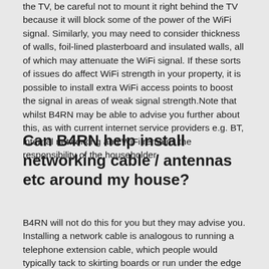the TV, be careful not to mount it right behind the TV because it will block some of the power of the WiFi signal. Similarly, you may need to consider thickness of walls, foil-lined plasterboard and insulated walls, all of which may attenuate the WiFi signal. If these sorts of issues do affect WiFi strength in your property, it is possible to install extra WiFi access points to boost the signal in areas of weak signal strength.Note that whilst B4RN may be able to advise you further about this, as with current internet service providers e.g. BT, internal networking and WiFi remains the responsibility of the householder.
Can B4RN help install networking cable / antennas etc around my house?
B4RN will not do this for you but they may advise you. Installing a network cable is analogous to running a telephone extension cable, which people would typically tack to skirting boards or run under the edge of the carpet. If you are looking for installation of network